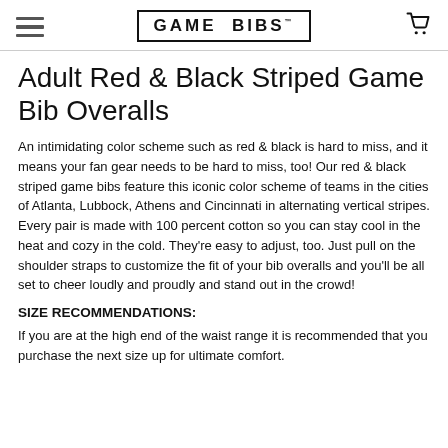GAME BIBS
Adult Red & Black Striped Game Bib Overalls
An intimidating color scheme such as red & black is hard to miss, and it means your fan gear needs to be hard to miss, too! Our red & black striped game bibs feature this iconic color scheme of teams in the cities of Atlanta, Lubbock, Athens and Cincinnati in alternating vertical stripes. Every pair is made with 100 percent cotton so you can stay cool in the heat and cozy in the cold. They're easy to adjust, too. Just pull on the shoulder straps to customize the fit of your bib overalls and you'll be all set to cheer loudly and proudly and stand out in the crowd!
SIZE RECOMMENDATIONS:
If you are at the high end of the waist range it is recommended that you purchase the next size up for ultimate comfort.